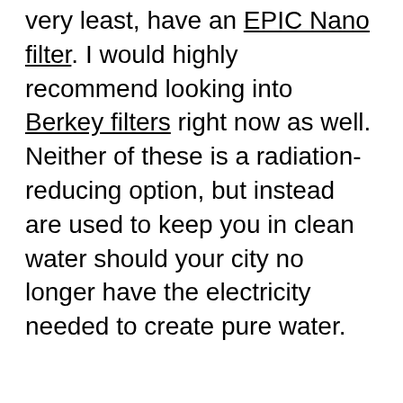very least, have an EPIC Nano filter. I would highly recommend looking into Berkey filters right now as well. Neither of these is a radiation-reducing option, but instead are used to keep you in clean water should your city no longer have the electricity needed to create pure water.